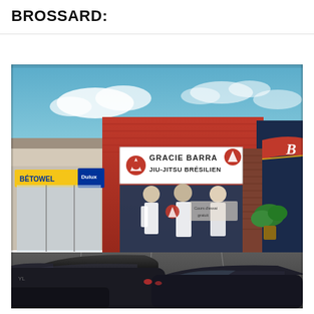BROSSARD:
[Figure (photo): Exterior photo of a Gracie Barra Jiu-Jitsu Brésilien martial arts school storefront in a strip mall in Brossard. The building has red metal siding with a large white sign reading 'GRACIE BARRA JIU-JITSU BRÉSILIEN' with the Gracie Barra logo. To the left is a Bétowel / Dulux paint store. A red awning is visible on the right side. The storefront windows display images of BJJ practitioners in white gis. Several cars are parked in the foreground lot. The sky is blue with clouds.]